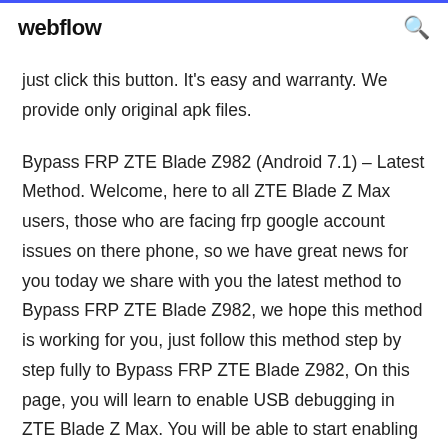webflow
just click this button. It's easy and warranty. We provide only original apk files.
Bypass FRP ZTE Blade Z982 (Android 7.1) – Latest Method. Welcome, here to all ZTE Blade Z Max users, those who are facing frp google account issues on there phone, so we have great news for you today we share with you the latest method to Bypass FRP ZTE Blade Z982, we hope this method is working for you, just follow this method step by step fully to Bypass FRP ZTE Blade Z982, On this page, you will learn to enable USB debugging in ZTE Blade Z Max. You will be able to start enabling USB debugging in ZTE Blade Z Max.